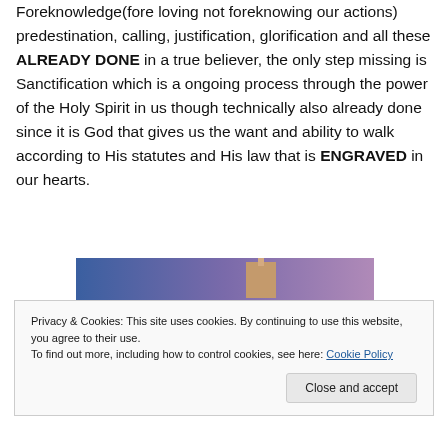Foreknowledge(fore loving not foreknowing our actions) predestination, calling, justification, glorification and all these ALREADY DONE in a true believer, the only step missing is Sanctification which is a ongoing process through the power of the Holy Spirit in us though technically also already done since it is God that gives us the want and ability to walk according to His statutes and His law that is ENGRAVED in our hearts.
[Figure (photo): Partial image showing a gradient background transitioning from blue on the left to purple/pink on the right, with a small brown/tan rectangular element near the top center.]
Privacy & Cookies: This site uses cookies. By continuing to use this website, you agree to their use.
To find out more, including how to control cookies, see here: Cookie Policy
Close and accept